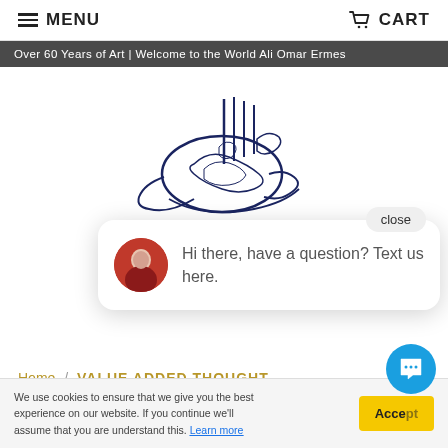MENU | CART
Over 60 Years of Art | Welcome to the World Ali Omar Ermes
[Figure (logo): Arabic calligraphy logo for Ali Omar Ermes in dark navy blue, with stylized Arabic script in tughra style]
ALI OMAR ERMES
close
Hi there, have a question? Text us here.
Home / VALUE ADDED THOUGHT
We use cookies to ensure that we give you the best experience on our website. If you continue we'll assume that you are understand this. Learn more
Accept